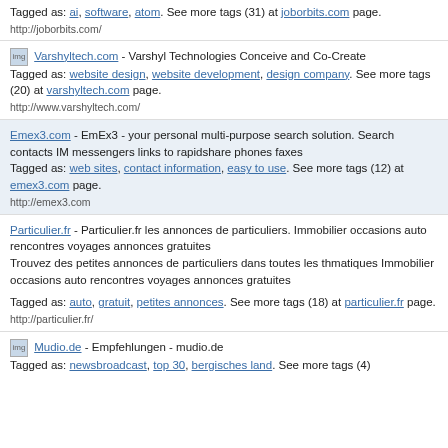Tagged as: ai, software, atom. See more tags (31) at joborbits.com page.
http://joborbits.com/
Varshyltech.com - Varshyl Technologies Conceive and Co-Create
Tagged as: website design, website development, design company. See more tags (20) at varshyltech.com page.
http://www.varshyltech.com/
Emex3.com - EmEx3 - your personal multi-purpose search solution. Search contacts IM messengers links to rapidshare phones faxes
Tagged as: web sites, contact information, easy to use. See more tags (12) at emex3.com page.
http://emex3.com
Particulier.fr - Particulier.fr les annonces de particuliers. Immobilier occasions auto rencontres voyages annonces gratuites
Trouvez des petites annonces de particuliers dans toutes les thmatiques Immobilier occasions auto rencontres voyages annonces gratuites

Tagged as: auto, gratuit, petites annonces. See more tags (18) at particulier.fr page.
http://particulier.fr/
Mudio.de - Empfehlungen - mudio.de
Tagged as: newsbroadcast, top 30, bergisches land. See more tags (4)